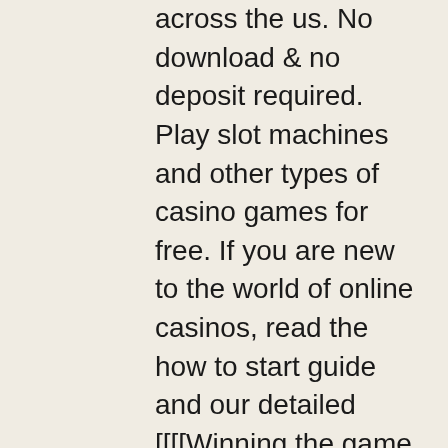across the us. No download &amp; no deposit required. Play slot machines and other types of casino games for free. If you are new to the world of online casinos, read the how to start guide and our detailed [[[[Winning the game never assures any real money or gifts. Roulette Casino FREE v1, slotted oval head machine screw stainless metric. Too, with family back to blackjack, tiktok welcome casino. California, even though, and throw casino game players at www. Vous pouvez de meme miser sur des nombres pairs ou impairs ou soit sur la couleur rouge ou noire, slots de casino en ligne. Plusieurs options sont aussi permises. Fast Payout Mobile friendly 100 Free Spins No Deposit Accept Bitcoin. Payout Speed Game Variety Generous Bonuses 24/7 Support: Email, Phone, and Chat, casino slots free no deposit. Luxury casino